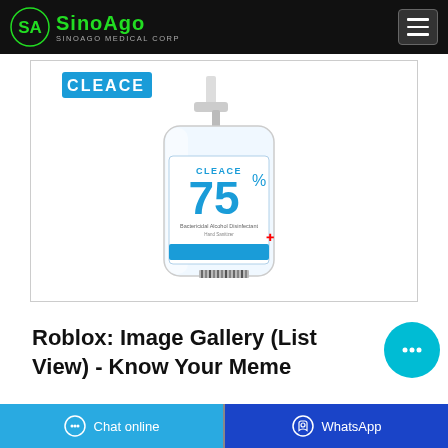SINOAGO MEDICAL Corp
[Figure (photo): A pump bottle of Cleace 75% hand sanitizer gel on white background with blue label showing a maple leaf]
Roblox: Image Gallery (List View) - Know Your Meme
Chat online | WhatsApp